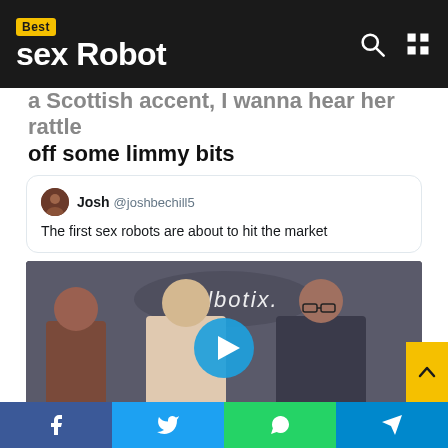Best sex Robot
a Scottish accent, I wanna hear her rattle off some limmy bits
[Figure (screenshot): Embedded tweet from Josh @joshbechill5 reading 'The first sex robots are about to hit the market' with a video thumbnail showing the Realbotix office with robotics figures and a man, including a play button overlay]
Social share buttons: Facebook, Twitter, WhatsApp, Telegram